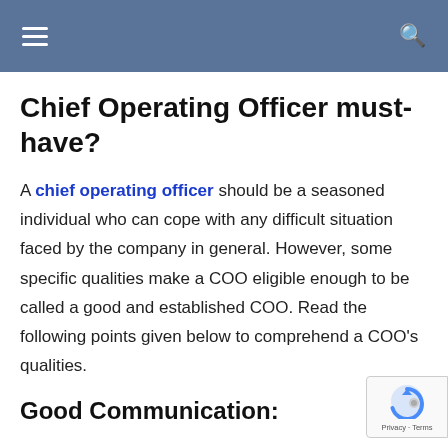Chief Operating Officer must-have?
Chief Operating Officer must-have?
A chief operating officer should be a seasoned individual who can cope with any difficult situation faced by the company in general. However, some specific qualities make a COO eligible enough to be called a good and established COO. Read the following points given below to comprehend a COO’s qualities.
Good Communication: